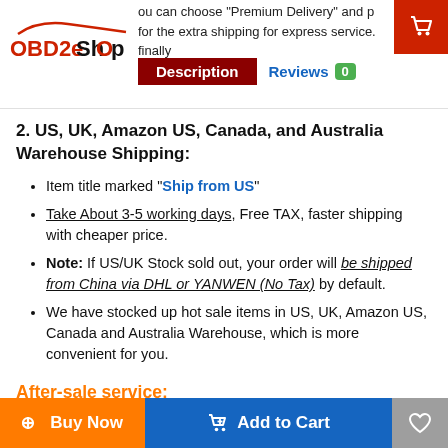OBD2eShOp — you can choose "Premium Delivery" and pay for the extra shipping for express service. finally will send…
2. US, UK, Amazon US, Canada, and Australia Warehouse Shipping:
Item title marked "Ship from US"
Take About 3-5 working days, Free TAX, faster shipping with cheaper price.
Note: If US/UK Stock sold out, your order will be shipped from China via DHL or YANWEN (No Tax) by default.
We have stocked up hot sale items in US, UK, Amazon US, Canada and Australia Warehouse, which is more convenient for you.
After-sale service:
We offer a lifetime guarantee and are stocked…